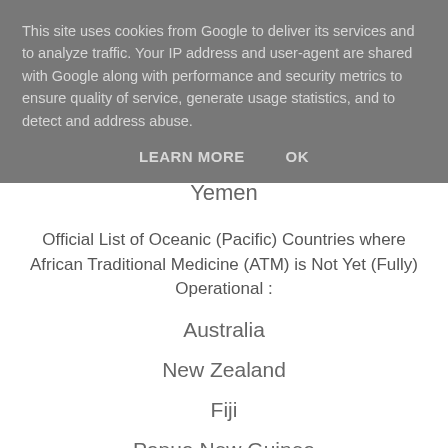This site uses cookies from Google to deliver its services and to analyze traffic. Your IP address and user-agent are shared with Google along with performance and security metrics to ensure quality of service, generate usage statistics, and to detect and address abuse.
LEARN MORE    OK
Yemen
Official List of Oceanic (Pacific) Countries where African Traditional Medicine (ATM) is Not Yet (Fully) Operational :
Australia
New Zealand
Fiji
Papua New Guinea
Solomon Islands